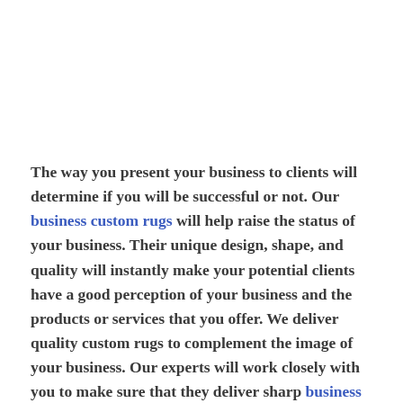The way you present your business to clients will determine if you will be successful or not. Our business custom rugs will help raise the status of your business. Their unique design, shape, and quality will instantly make your potential clients have a good perception of your business and the products or services that you offer. We deliver quality custom rugs to complement the image of your business. Our experts will work closely with you to make sure that they deliver sharp business custom rugs that reflect your business mission and vision.